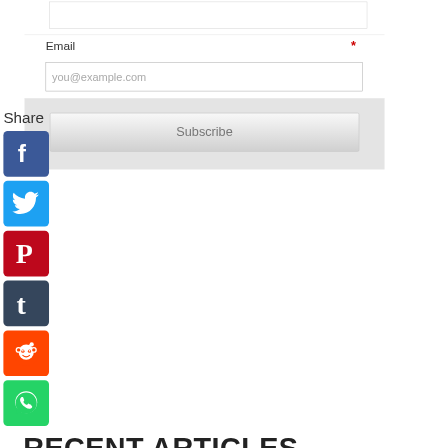[Figure (screenshot): Text input box (top of form, partially visible)]
Email *
[Figure (screenshot): Email input field with placeholder 'you@example.com']
[Figure (screenshot): Subscribe button]
Share
[Figure (other): Facebook share icon - blue square with white F]
[Figure (other): Twitter share icon - blue square with white bird]
[Figure (other): Pinterest share icon - red square with white P]
[Figure (other): Tumblr share icon - dark blue square with white t]
[Figure (other): Reddit share icon - orange square with Reddit alien]
[Figure (other): WhatsApp share icon - green square with phone handset]
RECENT ARTICLES
[Figure (other): RSS orange button and Follow green button]